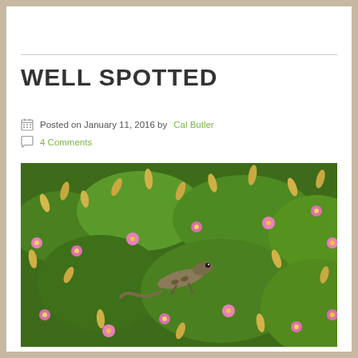WELL SPOTTED
Posted on January 11, 2016 by Cal Butler
4 Comments
[Figure (photo): Close-up photograph of a lizard camouflaged among flowering plants with pink flowers, yellow buds, and dense green foliage]